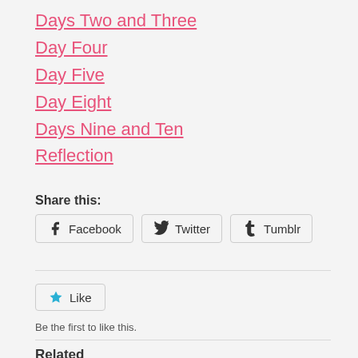Days Two and Three
Day Four
Day Five
Day Eight
Days Nine and Ten
Reflection
Share this:
Facebook  Twitter  Tumblr
Like
Be the first to like this.
Related